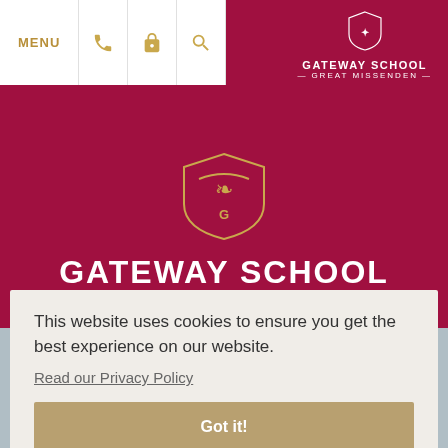[Figure (screenshot): School website screenshot showing navigation bar with MENU, phone, lock, and search icons on white background, and Gateway School Great Missenden logo on dark red background top right]
[Figure (logo): Gateway School Great Missenden crest and text logo centered on dark red/crimson hero background]
GATEWAY SCHOOL
— GREAT MISSENDEN —
This website uses cookies to ensure you get the best experience on our website.
Read our Privacy Policy
Got it!